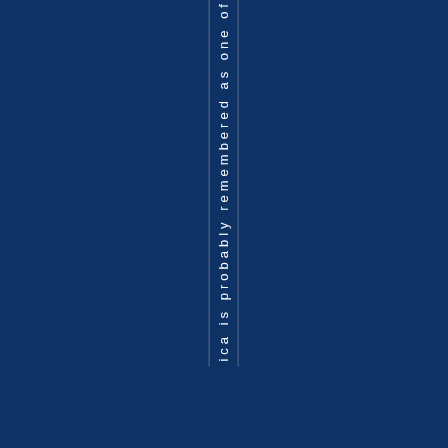ica is probably remembered as one of